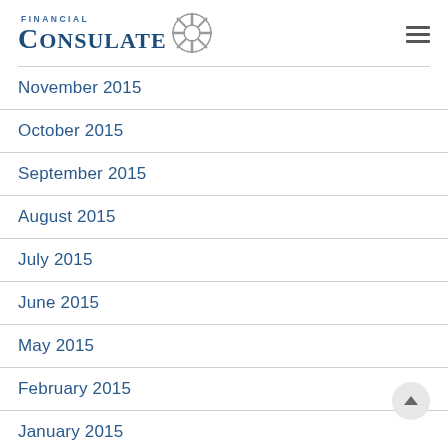Financial Consulate
November 2015
October 2015
September 2015
August 2015
July 2015
June 2015
May 2015
February 2015
January 2015